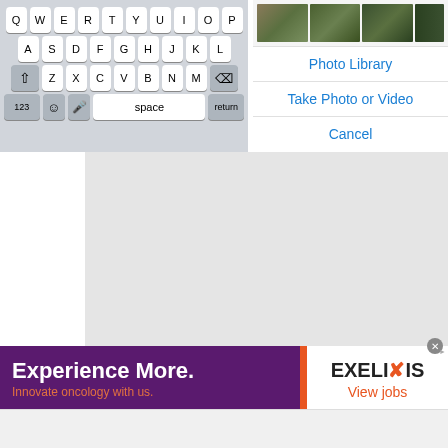[Figure (screenshot): iOS keyboard showing QWERTY layout with shift, delete, 123, emoji, microphone, space, and return keys on a gray background]
[Figure (screenshot): iOS photo picker action sheet showing photo thumbnails and options: Photo Library, Take Photo or Video, Cancel]
[Figure (screenshot): Gray content/map area below the keyboard and photo picker]
[Figure (screenshot): Advertisement banner for Exelixis: 'Experience More. Innovate oncology with us.' with Exelixis logo and 'View jobs' link]